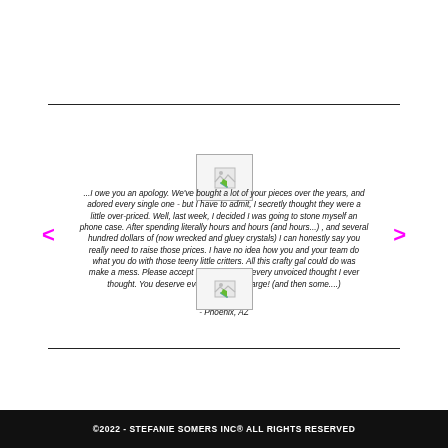[Figure (illustration): Broken image placeholder (top) — decorative image above testimonial text]
...I owe you an apology. We've bought a lot of your pieces over the years, and adored every single one - but I have to admit, I secretly thought they were a little over-priced. Well, last week, I decided I was going to stone myself an phone case. After spending literally hours and hours (and hours...) , and several hundred dollars of (now wrecked and gluey crystals) I can honestly say you really need to raise those prices. I have no idea how you and your team do what you do with those teeny little critters. All this crafty gal could do was make a mess. Please accept my apology for every unvoiced thought I ever thought. You deserve every cent you charge! (and then some....)
- Phoenix, AZ
[Figure (illustration): Broken image placeholder (bottom) — decorative image below testimonial text]
©2022 - STEFANIE SOMERS INC® ALL RIGHTS RESERVED